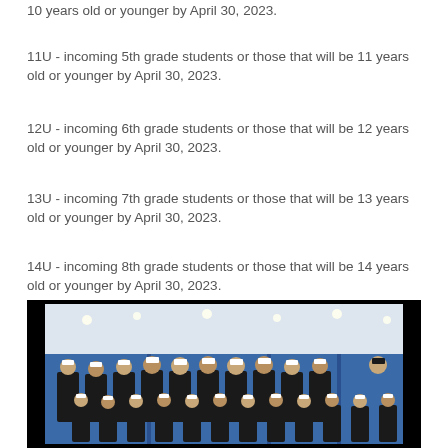10 years old or younger by April 30, 2023.
11U - incoming 5th grade students or those that will be 11 years old or younger by April 30, 2023.
12U - incoming 6th grade students or those that will be 12 years old or younger by April 30, 2023.
13U - incoming 7th grade students or those that will be 13 years old or younger by April 30, 2023.
14U - incoming 8th grade students or those that will be 14 years old or younger by April 30, 2023.
[Figure (photo): Group photo of youth baseball team players and coaches in black uniforms with white caps, standing in front of a blue curtain backdrop inside a sports facility.]